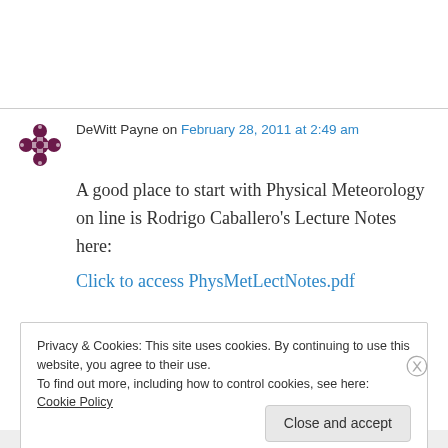DeWitt Payne on February 28, 2011 at 2:49 am
A good place to start with Physical Meteorology on line is Rodrigo Caballero's Lecture Notes here:
Click to access PhysMetLectNotes.pdf
Privacy & Cookies: This site uses cookies. By continuing to use this website, you agree to their use.
To find out more, including how to control cookies, see here: Cookie Policy